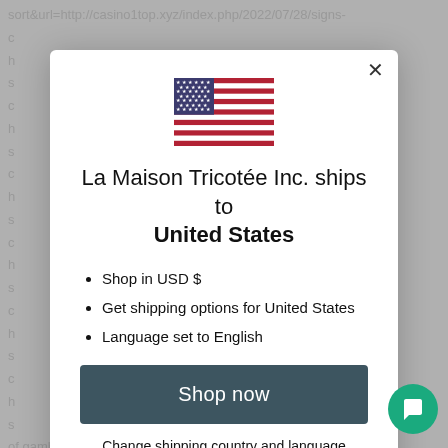[Figure (screenshot): Background webpage content partially visible behind modal overlay, showing truncated URL and text lines in grey]
[Figure (illustration): US flag emoji/icon centered at top of modal dialog]
La Maison Tricotée Inc. ships to United States
Shop in USD $
Get shipping options for United States
Language set to English
Shop now
Change shipping country and language